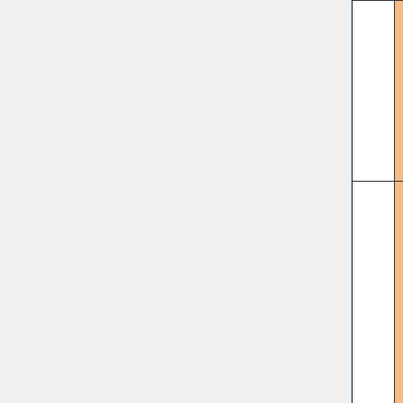| # | Software Name | Certificate | Description |
| --- | --- | --- | --- |
|  |  |  | Use UG ani |
| 52 | UCSF Chimera | Certificate | UC inte ana and one ima Use stu |
|  | Typing Software |  |  |
| 53 | KTouch | Training only, No certificates | Typ usin key own you |